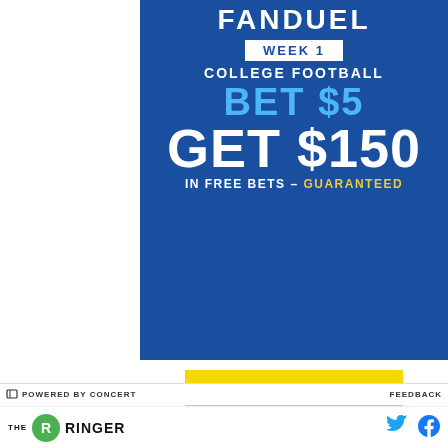[Figure (infographic): FanDuel advertisement: Week 1 College Football promotion. Bet $5 Get $150 in Free Bets - Guaranteed. Blue background with white and blue text, yellow BET NOW button.]
21+ and present in PA, NY, IL, MN (permitted substances only), MI, NJ, CT, TN, IN, WY, or WC. First online and money wager only. $5 first deposit required. Bonus issued as site credit on first deposit. Non-withdrawable. 7 days to use. Max $3 bonus. Apply. See Terms at sportsbook.fanduel.com. Gambling Problem? Call/text 1-800-GAMBLER or visit FanDuel.com/RG (PA, NJ), 1-800-522-4700 (Nevada), 1-800-NEXT-STEP or text NEXTSTEP to 53342 (AZ), 1-888-789-7777 or www.ccpg.org/chat (CT), 1-800-9-WITH-IT (IN), for more info visit www.shr.io/gamaware.com (WA)
POWERED BY CONCERT
FEEDBACK
[Figure (logo): The Ringer logo - green circle with R, THE RINGER text]
[Figure (logo): Twitter bird icon and Facebook icon]